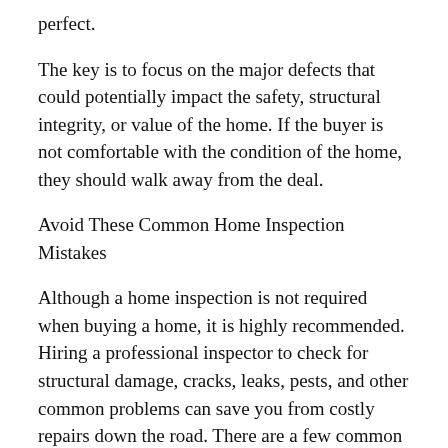perfect.
The key is to focus on the major defects that could potentially impact the safety, structural integrity, or value of the home. If the buyer is not comfortable with the condition of the home, they should walk away from the deal.
Avoid These Common Home Inspection Mistakes
Although a home inspection is not required when buying a home, it is highly recommended. Hiring a professional inspector to check for structural damage, cracks, leaks, pests, and other common problems can save you from costly repairs down the road. There are a few common home inspection mistakes people make, but by following a few simple tips, you can avoid them and have a successful inspection.